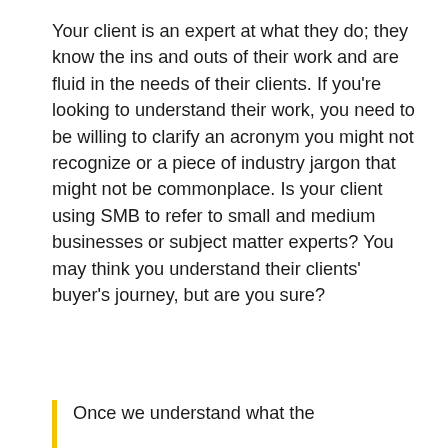Your client is an expert at what they do; they know the ins and outs of their work and are fluid in the needs of their clients. If you're looking to understand their work, you need to be willing to clarify an acronym you might not recognize or a piece of industry jargon that might not be commonplace. Is your client using SMB to refer to small and medium businesses or subject matter experts? You may think you understand their clients' buyer's journey, but are you sure?
Once we understand what the